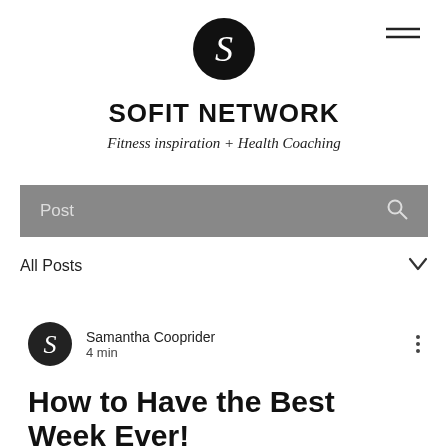[Figure (logo): Sofit Network logo: black circle with white stylized S letterform]
SOFIT NETWORK
Fitness inspiration + Health Coaching
Post
All Posts
Samantha Cooprider
4 min
How to Have the Best Week Ever!